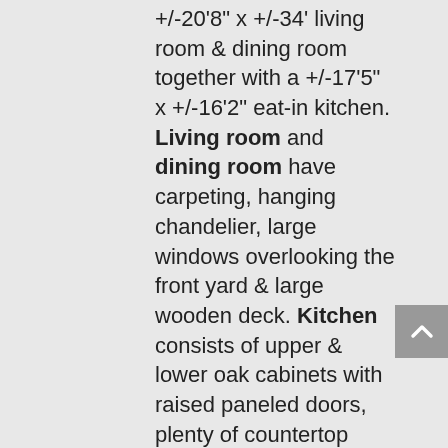+/-20'8" x +/-34' living room & dining room together with a +/-17'5" x +/-16'2" eat-in kitchen. Living room and dining room have carpeting, hanging chandelier, large windows overlooking the front yard & large wooden deck. Kitchen consists of upper & lower oak cabinets with raised paneled doors, plenty of countertop space, built-in produce pantry, Whirlpool oven w/broiler, Whirlpool dishwasher, white Whirlpool side-by-side refrigerator with front door ice & water dispensers, Whirlpool cooktop, exhaust fan & light over stove, double-bowl stainless steel kitchen sink w/window overlooking the backyard, wallpaper, 2 light fixtures, parquet wood flooring & back door leading out to the deck and backyard. Utility Closet: large closet w/washer & dryer hookups. Master Bedroom #1: +/-16' x +/-14'5"